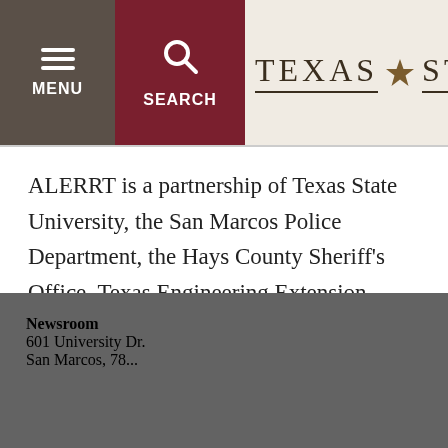[Figure (logo): Texas State University logo with menu and search navigation buttons]
ALERRT is a partnership of Texas State University, the San Marcos Police Department, the Hays County Sheriff’s Office, Texas Engineering Extension Service, the Criminal Justice Division of the Texas Governor’s Office and the U.S. Bureau of Justice Assistance.
Newsroom
601 University Dr.
San Marcos, 78...